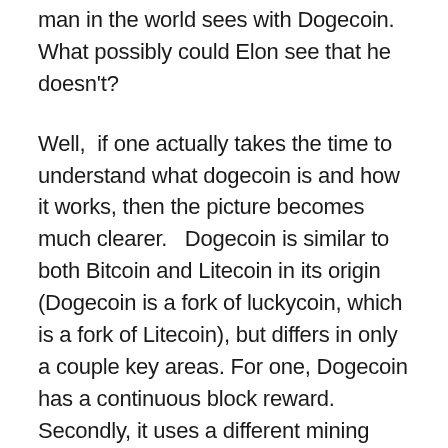man in the world sees with Dogecoin. What possibly could Elon see that he doesn't?
Well,  if one actually takes the time to understand what dogecoin is and how it works, then the picture becomes much clearer.   Dogecoin is similar to both Bitcoin and Litecoin in its origin (Dogecoin is a fork of luckycoin, which is a fork of Litecoin), but differs in only a couple key areas. For one, Dogecoin has a continuous block reward. Secondly, it uses a different mining algorithm than Bitcoin called Scrypt, which it is merge mined with Litecoin also. Third, It has faster block times of 1 minute, which is 2.5 times faster than Litecoin and 10 times faster than